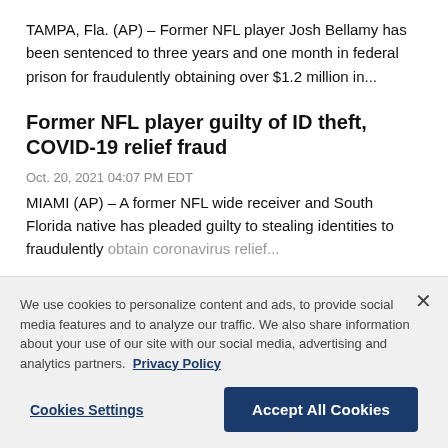TAMPA, Fla. (AP) – Former NFL player Josh Bellamy has been sentenced to three years and one month in federal prison for fraudulently obtaining over $1.2 million in...
Former NFL player guilty of ID theft, COVID-19 relief fraud
Oct. 20, 2021 04:07 PM EDT
MIAMI (AP) – A former NFL wide receiver and South Florida native has pleaded guilty to stealing identities to fraudulently obtain coronavirus relief...
We use cookies to personalize content and ads, to provide social media features and to analyze our traffic. We also share information about your use of our site with our social media, advertising and analytics partners. Privacy Policy
Cookies Settings
Accept All Cookies